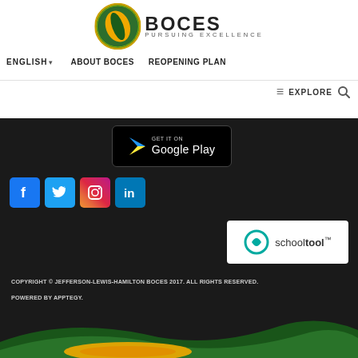[Figure (logo): BOCES Pursuing Excellence logo with circular green/gold emblem and BOCES text]
ENGLISH ▾   ABOUT BOCES   REOPENING PLAN
≡ EXPLORE 🔍
[Figure (other): Get it on Google Play badge]
[Figure (other): Social media icons: Facebook, Twitter, Instagram, LinkedIn]
[Figure (logo): schooltool logo on white background]
COPYRIGHT © JEFFERSON-LEWIS-HAMILTON BOCES 2017. ALL RIGHTS RESERVED.
POWERED BY APPTEGY.
[Figure (illustration): Decorative green and gold wave design at bottom of page]